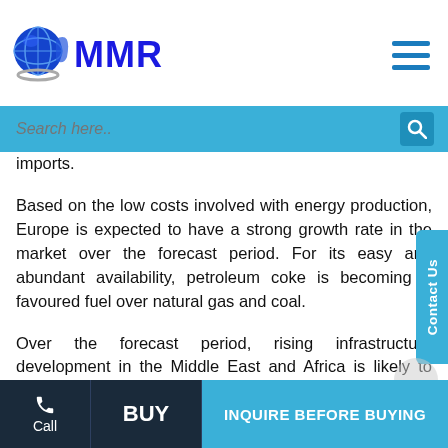MMR - Market Research
imports.
Based on the low costs involved with energy production, Europe is expected to have a strong growth rate in the market over the forecast period. For its easy and abundant availability, petroleum coke is becoming a favoured fuel over natural gas and coal.
Over the forecast period, rising infrastructure development in the Middle East and Africa is likely to enhance petroleum coke demand in the region. The companies that refine crude oil are establishing delayed coking units to create petroleum coke. The North American market is developed, with an average growth rate of...
Call | BUY | INQUIRE BEFORE BUYING